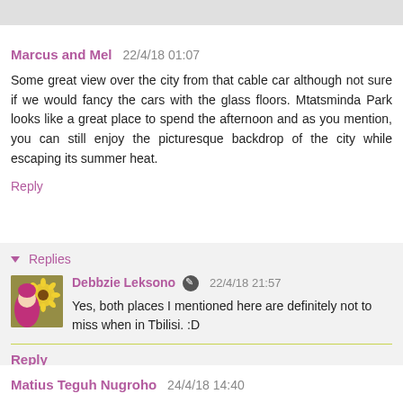Marcus and Mel  22/4/18 01:07
Some great view over the city from that cable car although not sure if we would fancy the cars with the glass floors. Mtatsminda Park looks like a great place to spend the afternoon and as you mention, you can still enjoy the picturesque backdrop of the city while escaping its summer heat.
Reply
▾ Replies
Debbzie Leksono ✎ 22/4/18 21:57
Yes, both places I mentioned here are definitely not to miss when in Tbilisi. :D
Reply
Matius Teguh Nugroho  24/4/18 14:40